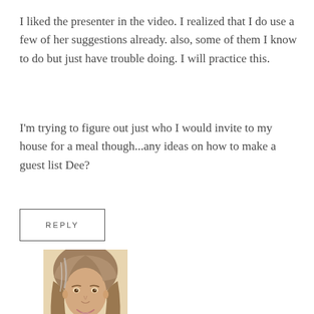I liked the presenter in the video. I realized that I do use a few of her suggestions already. also, some of them I know to do but just have trouble doing. I will practice this.
I'm trying to figure out just who I would invite to my house for a meal though...any ideas on how to make a guest list Dee?
REPLY
[Figure (photo): Portrait photo of a woman with long wavy brown/gray hair, smiling, cropped at lower portion of page]